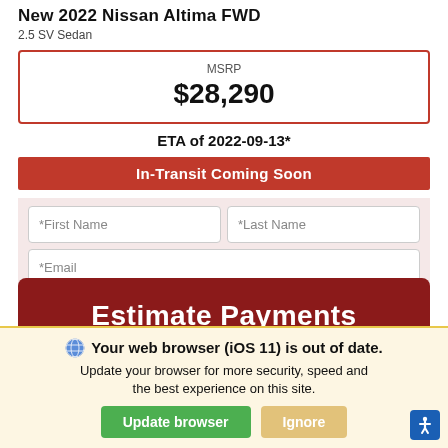New 2022 Nissan Altima FWD
2.5 SV Sedan
MSRP $28,290
ETA of 2022-09-13*
In-Transit Coming Soon
*First Name | *Last Name | *Email | Phone | Contact Dealer
[Figure (screenshot): Estimate Payments button section with dark red background and white text]
Your web browser (iOS 11) is out of date. Update your browser for more security, speed and the best experience on this site. [Update browser] [Ignore]